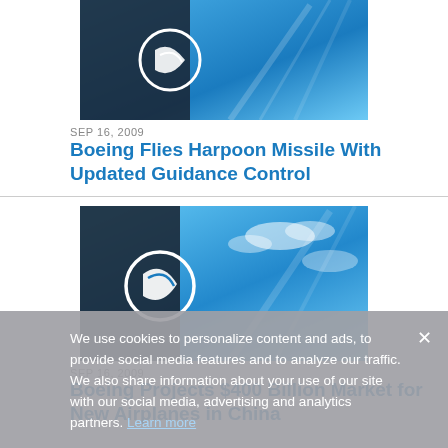[Figure (photo): Boeing logo on building against blue sky - top article image (partially visible)]
SEP 16, 2009
Boeing Flies Harpoon Missile With Updated Guidance Control
[Figure (photo): Boeing logo on building against cloudy blue sky - second article image]
SEP 16, 2009
Boeing Projects $400 Billion Market for New Airplanes in China
We use cookies to personalize content and ads, to provide social media features and to analyze our traffic. We also share information about your use of our site with our social media, advertising and analytics partners. Learn more
SEP 15, 2009